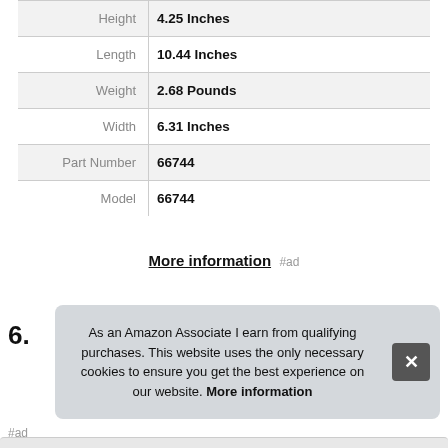|  |  |
| --- | --- |
| Height | 4.25 Inches |
| Length | 10.44 Inches |
| Weight | 2.68 Pounds |
| Width | 6.31 Inches |
| Part Number | 66744 |
| Model | 66744 |
More information #ad
6.
As an Amazon Associate I earn from qualifying purchases. This website uses the only necessary cookies to ensure you get the best experience on our website. More information
#ad